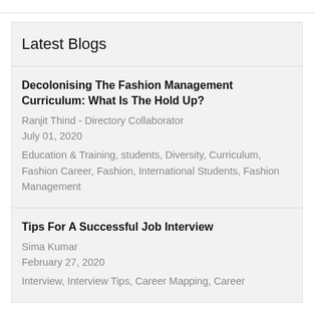Latest Blogs
Decolonising The Fashion Management Curriculum: What Is The Hold Up?
Ranjit Thind - Directory Collaborator
July 01, 2020
Education & Training, students, Diversity, Curriculum, Fashion Career, Fashion, International Students, Fashion Management
Tips For A Successful Job Interview
Sima Kumar
February 27, 2020
Interview, Interview Tips, Career Mapping, Career